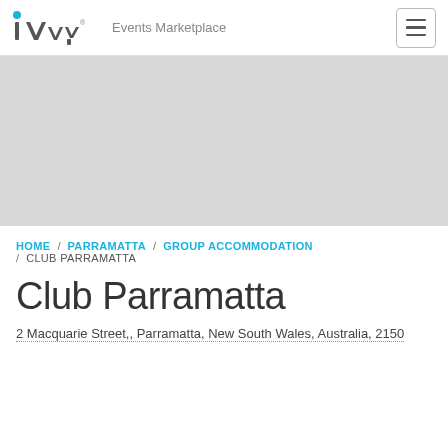iVvy Events Marketplace
[Figure (screenshot): Gray hero image placeholder banner]
HOME / PARRAMATTA / GROUP ACCOMMODATION / CLUB PARRAMATTA
Club Parramatta
2 Macquarie Street,, Parramatta, New South Wales, Australia, 2150